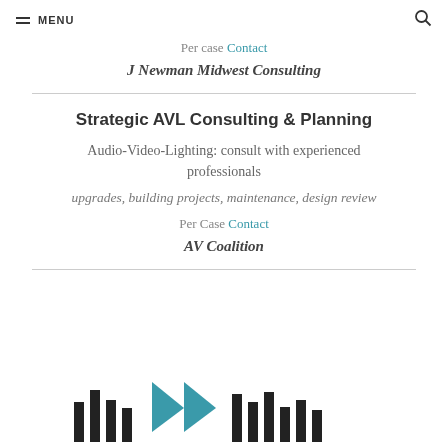MENU
Per case Contact
J Newman Midwest Consulting
Strategic AVL Consulting & Planning
Audio-Video-Lighting: consult with experienced professionals
upgrades, building projects, maintenance, design review
Per Case Contact
AV Coalition
[Figure (logo): Partial logo visible at bottom of page, black and teal colored]